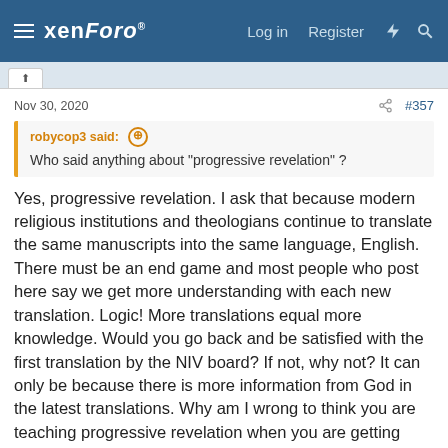xenForo — Log in   Register
Nov 30, 2020   #357
robycop3 said: Who said anything about "progressive revelation" ?
Yes, progressive revelation. I ask that because modern religious institutions and theologians continue to translate the same manuscripts into the same language, English. There must be an end game and most people who post here say we get more understanding with each new translation. Logic! More translations equal more knowledge. Would you go back and be satisfied with the first translation by the NIV board? If not, why not? It can only be because there is more information from God in the latest translations. Why am I wrong to think you are teaching progressive revelation when you are getting new revelations from the newest translations?
What has been the fruit of new translations ad nauseum? Your